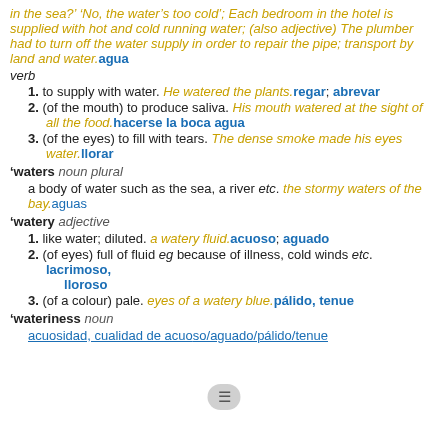in the sea?' `No, the water's too cold'; Each bedroom in the hotel is supplied with hot and cold running water; (also adjective) The plumber had to turn off the water supply in order to repair the pipe; transport by land and water. agua
verb
1. to supply with water. He watered the plants. regar; abrevar
2. (of the mouth) to produce saliva. His mouth watered at the sight of all the food. hacerse la boca agua
3. (of the eyes) to fill with tears. The dense smoke made his eyes water. llorar
'waters noun plural
a body of water such as the sea, a river etc. the stormy waters of the bay. aguas
'watery adjective
1. like water; diluted. a watery fluid. acuoso; aguado
2. (of eyes) full of fluid eg because of illness, cold winds etc. lacrimoso, lloroso
3. (of a colour) pale. eyes of a watery blue. pálido, tenue
'wateriness noun
acuosidad, cualidad de acuoso/aguado/pálido/tenue